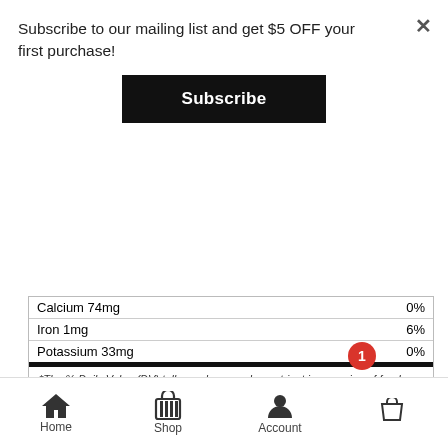Subscribe to our mailing list and get $5 OFF your first purchase!
[Figure (other): Subscribe button (black, rectangular)]
| Calcium 74mg | 0% |
| Iron 1mg | 6% |
| Potassium 33mg | 0% |
*The % Daily Value (DV) tells you how much a nutrient in a serving of food contributes to a daily diet. 2,000 calories a day is used for general nutrition advice.
Millet Flour, Brown Rice Flour, Rice Flour, Rice Bran, Quinoa Flour, Apple Cider Vinegar, Sea Salt, Aluminum Free Baking Powder (Sodium Acid Pyrophosphate, Sodium Bicarbonate, Potato Starch, Monocalcium Phosphate), Cultured Brown Rice Flour, Cultured Dextrose, and Ascorbic Acid.
Home  Shop  Account